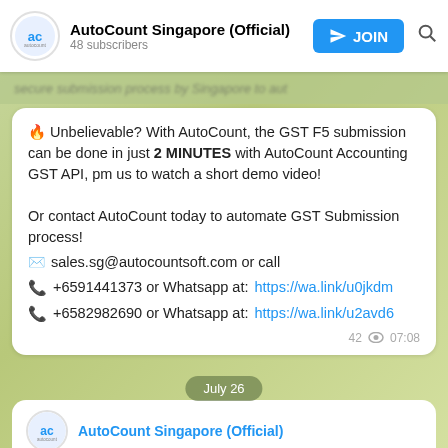AutoCount Singapore (Official) — 48 subscribers
🔥 Unbelievable? With AutoCount, the GST F5 submission can be done in just 2 MINUTES with AutoCount Accounting GST API, pm us to watch a short demo video!

Or contact AutoCount today to automate GST Submission process!
✉ sales.sg@autocountsoft.com or call
📞 +6591441373 or Whatsapp at: https://wa.link/u0jkdm
📞 +6582982690 or Whatsapp at: https://wa.link/u2avd6
42 👁 07:08
July 26
AutoCount Singapore (Official)